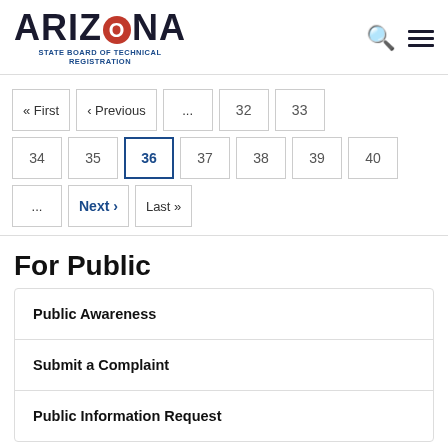[Figure (logo): Arizona State Board of Technical Registration logo with red circle O and blue subtitle text]
« First  ‹ Previous  ...  32  33  34  35  36  37  38  39  40  ...  Next ›  Last »
For Public
Public Awareness
Submit a Complaint
Public Information Request